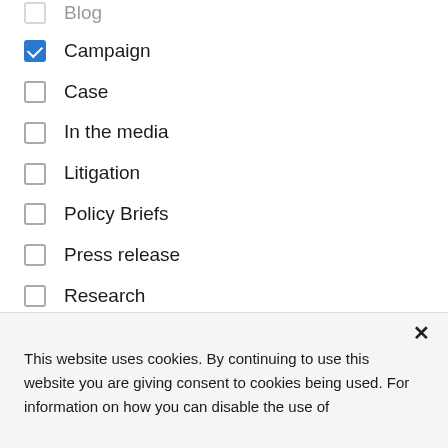Blog (partial, cropped at top)
Campaign (checked)
Case (unchecked)
In the media (unchecked)
Litigation (unchecked)
Policy Briefs (unchecked)
Press release (unchecked)
Research (unchecked)
Testimony and Public Comment (checked)
This website uses cookies. By continuing to use this website you are giving consent to cookies being used. For information on how you can disable the use of